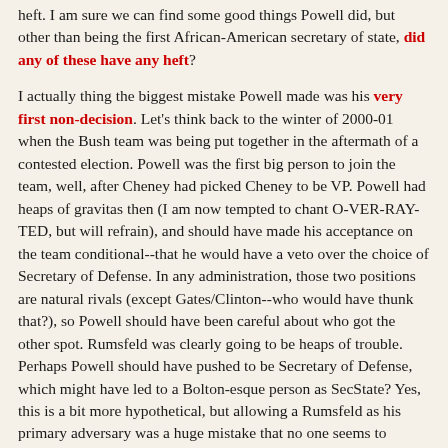heft.  I am sure we can find some good things Powell did, but other than being the first African-American secretary of state, did any of these have any heft?
I actually thing the biggest mistake Powell made was his very first non-decision.  Let's think back to the winter of 2000-01 when the Bush team was being put together in the aftermath of a contested election.  Powell was the first big person to join the team, well, after Cheney had picked Cheney to be VP.  Powell had heaps of gravitas then (I am now tempted to chant O-VER-RAY-TED, but will refrain), and should have made his acceptance on the team conditional--that he would have a veto over the choice of Secretary of Defense.  In any administration, those two positions are natural rivals (except Gates/Clinton--who would have thunk that?), so Powell should have been careful about who got the other spot.  Rumsfeld was clearly going to be heaps of trouble.  Perhaps Powell should have pushed to be Secretary of Defense, which might have led to a Bolton-esque person as SecState?  Yes, this is a bit more hypothetical, but allowing a Rumsfeld as his primary adversary was  a huge mistake that no one seems to consider.  Yes, Rummy was Cheney's man, but the administration, at this fragile time, really needed Powell.  He had no more power than at that